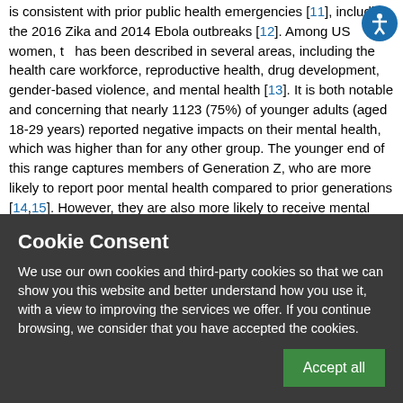is consistent with prior public health emergencies [11], including the 2016 Zika and 2014 Ebola outbreaks [12]. Among US women, the has been described in several areas, including the health care workforce, reproductive health, drug development, gender-based violence, and mental health [13]. It is both notable and concerning that nearly 1123 (75%) of younger adults (aged 18-29 years) reported negative impacts on their mental health, which was higher than for any other group. The younger end of this range captures members of Generation Z, who are more likely to report poor mental health compared to prior generations [14,15]. However, they are also more likely to receive mental health therapy or treatment [14]
Cookie Consent
We use our own cookies and third-party cookies so that we can show you this website and better understand how you use it, with a view to improving the services we offer. If you continue browsing, we consider that you have accepted the cookies.